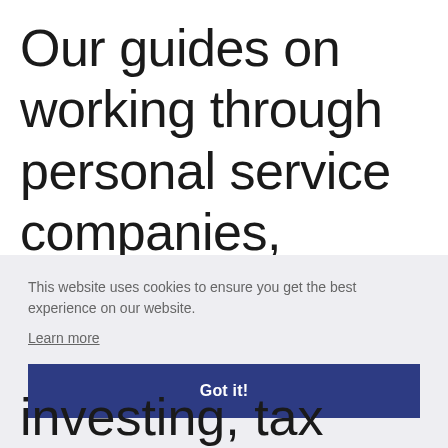Our guides on working through personal service companies,
This website uses cookies to ensure you get the best experience on our website.
Learn more
Got it!
investing, tax